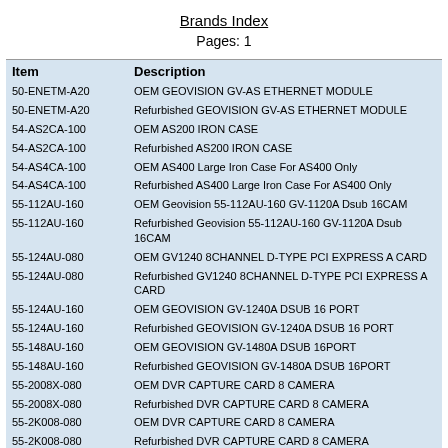Brands Index
Pages: 1
| Item | Description |
| --- | --- |
| 50-ENETM-A20 | OEM GEOVISION GV-AS ETHERNET MODULE |
| 50-ENETM-A20 | Refurbished GEOVISION GV-AS ETHERNET MODULE |
| 54-AS2CA-100 | OEM AS200 IRON CASE |
| 54-AS2CA-100 | Refurbished AS200 IRON CASE |
| 54-AS4CA-100 | OEM AS400 Large Iron Case For AS400 Only |
| 54-AS4CA-100 | Refurbished AS400 Large Iron Case For AS400 Only |
| 55-112AU-160 | OEM Geovision 55-112AU-160 GV-1120A Dsub 16CAM |
| 55-112AU-160 | Refurbished Geovision 55-112AU-160 GV-1120A Dsub 16CAM |
| 55-124AU-080 | OEM GV1240 8CHANNEL D-TYPE PCI EXPRESS A CARD |
| 55-124AU-080 | Refurbished GV1240 8CHANNEL D-TYPE PCI EXPRESS A CARD |
| 55-124AU-160 | OEM GEOVISION GV-1240A DSUB 16 PORT |
| 55-124AU-160 | Refurbished GEOVISION GV-1240A DSUB 16 PORT |
| 55-148AU-160 | OEM GEOVISION GV-1480A DSUB 16PORT |
| 55-148AU-160 | Refurbished GEOVISION GV-1480A DSUB 16PORT |
| 55-2008X-080 | OEM DVR CAPTURE CARD 8 CAMERA |
| 55-2008X-080 | Refurbished DVR CAPTURE CARD 8 CAMERA |
| 55-2K008-080 | OEM DVR CAPTURE CARD 8 CAMERA |
| 55-2K008-080 | Refurbished DVR CAPTURE CARD 8 CAMERA |
| 55-4016A-160 | OEM GV4008 16 CHANNEL DVITYPE PCI EXPRESS A CARD 2CARDS |
| 55-4016A-160 | Refurbished GV4008 16 CHANNEL DVITYPE PCI EXPRESS A CARD 2CARDS |
| 55-4K008-080 | OEM GEOVISION GV-4008 8CH H.264 CARD |
| 55-4K008-080 | Refurbished GEOVISION GV-4008 8CH H.264 CARD |